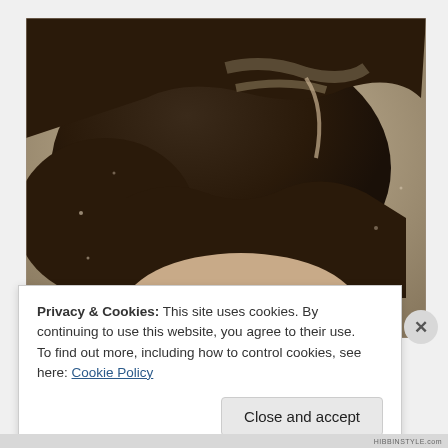[Figure (photo): Vintage sepia-toned close-up photograph of a person's head showing curly dark hair with a side part, cropped at the forehead and eyes level.]
Privacy & Cookies: This site uses cookies. By continuing to use this website, you agree to their use.
To find out more, including how to control cookies, see here: Cookie Policy
Close and accept
HIBBINSTYLE.com